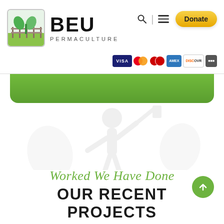[Figure (screenshot): BEU Permaculture website header with logo (green plant/leaf icon in a box), BEU PERMACULTURE text, search icon, menu icon, Donate button, and payment card icons (Visa, Mastercard, Amex, Discover)]
[Figure (illustration): Light gray watermark-style background illustration of a person gardening/permaculture scene]
Worked We Have Done
OUR RECENT PROJECTS